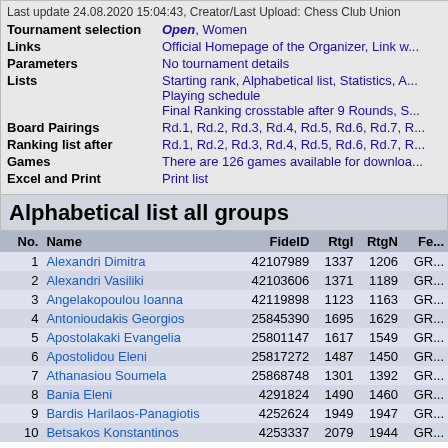Last update 24.08.2020 15:04:43, Creator/Last Upload: Chess Club Union
|  |  |
| --- | --- |
| Tournament selection | Open, Women |
| Links | Official Homepage of the Organizer, Link w... |
| Parameters | No tournament details |
| Lists | Starting rank, Alphabetical list, Statistics, A... Playing schedule / Final Ranking crosstable after 9 Rounds, S... |
| Board Pairings | Rd.1, Rd.2, Rd.3, Rd.4, Rd.5, Rd.6, Rd.7, R... |
| Ranking list after | Rd.1, Rd.2, Rd.3, Rd.4, Rd.5, Rd.6, Rd.7, R... |
| Games | There are 126 games available for downloa... |
| Excel and Print | Print list |
Alphabetical list all groups
| No. | Name | FideID | RtgI | RtgN | Fe... |
| --- | --- | --- | --- | --- | --- |
| 1 | Alexandri Dimitra | 42107989 | 1337 | 1206 | GR... |
| 2 | Alexandri Vasiliki | 42103606 | 1371 | 1189 | GR... |
| 3 | Angelakopoulou Ioanna | 42119898 | 1123 | 1163 | GR... |
| 4 | Antonioudakis Georgios | 25845390 | 1695 | 1629 | GR... |
| 5 | Apostolakaki Evangelia | 25801147 | 1617 | 1549 | GR... |
| 6 | Apostolidou Eleni | 25817272 | 1487 | 1450 | GR... |
| 7 | Athanasiou Soumela | 25868748 | 1301 | 1392 | GR... |
| 8 | Bania Eleni | 4291824 | 1490 | 1460 | GR... |
| 9 | Bardis Harilaos-Panagiotis | 4252624 | 1949 | 1947 | GR... |
| 10 | Betsakos Konstantinos | 4253337 | 2079 | 1944 | GR... |